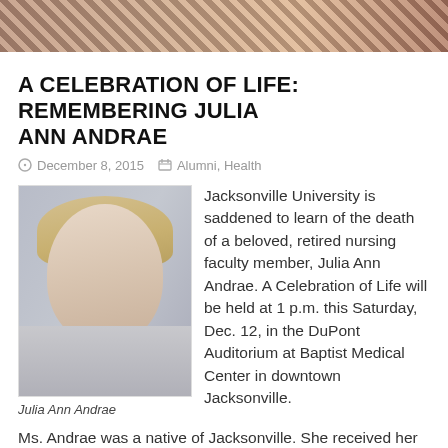[Figure (photo): Header photo showing partial view of people at the top of the page]
A CELEBRATION OF LIFE: REMEMBERING JULIA ANN ANDRAE
December 8, 2015   Alumni, Health
[Figure (photo): Portrait photo of Julia Ann Andrae, a woman with short blonde hair]
Julia Ann Andrae
Jacksonville University is saddened to learn of the death of a beloved, retired nursing faculty member, Julia Ann Andrae. A Celebration of Life will be held at 1 p.m. this Saturday, Dec. 12, in the DuPont Auditorium at Baptist Medical Center in downtown Jacksonville.
Ms. Andrae was a native of Jacksonville. She received her Bachelor of Science in Nursing from Northeast Missouri State in Kirksville, Mo., and her Master of Science in Nursing from the University of Texas in Austin. She moved back to Jacksonville in